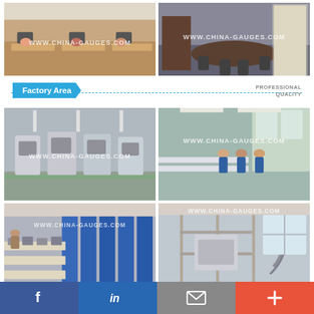[Figure (photo): Office area with employees working at computers]
[Figure (photo): Conference/reception area with chairs]
Factory Area
PROFESSIONAL QUALITY
[Figure (photo): Factory floor with CNC machines]
[Figure (photo): Workers assembling equipment in factory]
[Figure (photo): Assembly line with gauges/instruments]
[Figure (photo): Laboratory or testing room interior]
f  in  [mail]  +